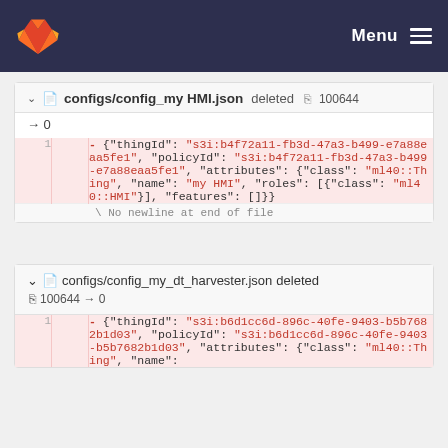GitLab — Menu
configs/config_my HMI.json deleted 100644 → 0
- {"thingId": "s3i:b4f72a11-fb3d-47a3-b499-e7a88eaa5fe1", "policyId": "s3i:b4f72a11-fb3d-47a3-b499-e7a88eaa5fe1", "attributes": {"class": "ml40::Thing", "name": "my HMI", "roles": [{"class": "ml40::HMI"}], "features": []}}
\ No newline at end of file
configs/config_my_dt_harvester.json deleted 100644 → 0
- {"thingId": "s3i:b6d1cc6d-896c-40fe-9403-b5b7682b1d03", "policyId": "s3i:b6d1cc6d-896c-40fe-9403-b5b7682b1d03", "attributes": {"class": "ml40::Thing", "name":